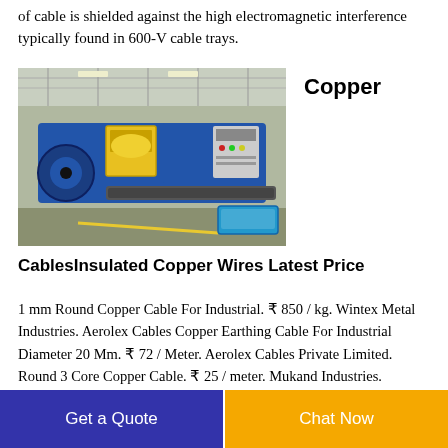of cable is shielded against the high electromagnetic interference typically found in 600-V cable trays.
[Figure (photo): Industrial cable manufacturing machine (blue and yellow) in a factory setting]
Copper
CablesInsulated Copper Wires Latest Price
1 mm Round Copper Cable For Industrial. ₹ 850 / kg. Wintex Metal Industries. Aerolex Cables Copper Earthing Cable For Industrial Diameter 20 Mm. ₹ 72 / Meter. Aerolex Cables Private Limited. Round 3 Core Copper Cable. ₹ 25 / meter. Mukand Industries.
Get a Quote
Chat Now